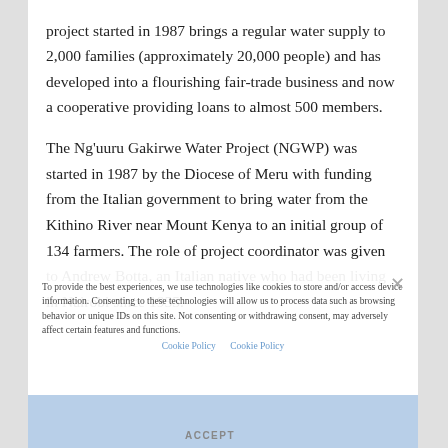project started in 1987 brings a regular water supply to 2,000 families (approximately 20,000 people) and has developed into a flourishing fair-trade business and now a cooperative providing loans to almost 500 members.
To provide the best experiences, we use technologies like cookies to store and/or access device information. Consenting to these technologies will allow us to process data such as browsing behavior or unique IDs on this site. Not consenting or withdrawing consent, may adversely affect certain features and functions.
The Ng'uuru Gakirwe Water Project (NGWP) was started in 1987 by the Diocese of Meru with funding from the Italian government to bring water from the Kithino River near Mount Kenya to an initial group of 134 farmers. The role of project coordinator was given to Andrew Botta, an Italian native who had been living in Nairobi since 1955.
Cookie Policy   Cookie Policy